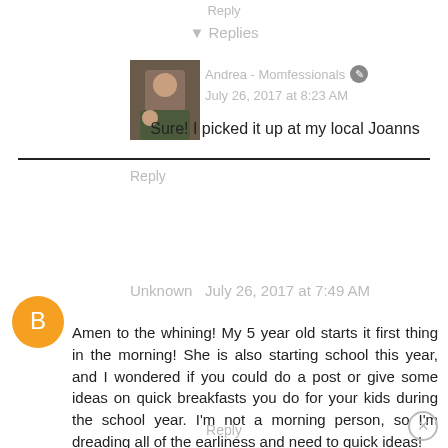Reply
Replies
Andrea - Momfessionals   July 26, 2017 at 8:23 AM
Sure! I picked it up at my local Joanns
Reply
Unknown   July 26, 2017 at 7:49 AM
Amen to the whining! My 5 year old starts it first thing in the morning! She is also starting school this year, and I wondered if you could do a post or give some ideas on quick breakfasts you do for your kids during the school year. I'm not a morning person, so I'm dreading all of the earliness and need to quick ideas!
Thanks so much - Heather G.
Reply